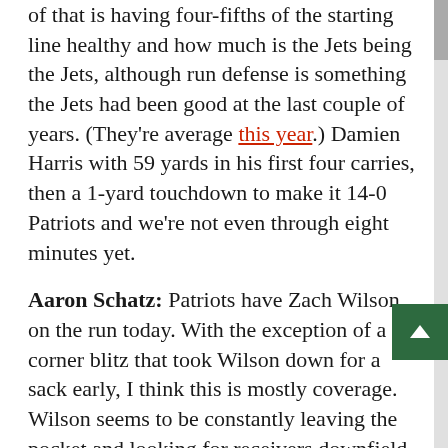of that is having four-fifths of the starting line healthy and how much is the Jets being the Jets, although run defense is something the Jets had been good at the last couple of years. (They're average this year.) Damien Harris with 59 yards in his first four carries, then a 1-yard touchdown to make it 14-0 Patriots and we're not even through eight minutes yet.
Aaron Schatz: Patriots have Zach Wilson on the run today. With the exception of a corner blitz that took Wilson down for a sack early, I think this is mostly coverage. Wilson seems to be constantly leaving the pocket and looking for receivers downfield. He has found them a couple of times had to throw it away even more times. Although now that I write this, he just drew a long pass interference penalty on Kyle Dugger and the Jets have the ball right up at the goal line down 17-0.